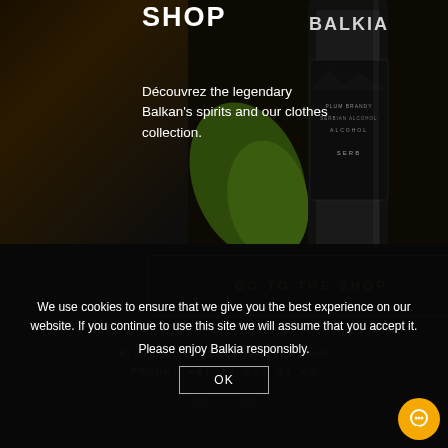SHOP
[Figure (photo): A dark-background photo of a Balkia branded bottle of Serbian plum brandy with green leaves, BALKIA text visible prominently on the bottle label.]
Découvrez the legendary Balkan's spirits and our clothes collection.
GO TO THE SHOP
E-mail: contact@balkia.com
Phone: +41 24 588 01 49
Copyright © 2021 by Balkia.com
All Rights Reserved
We use cookies to ensure that we give you the best experience on our website. If you continue to use this site we will assume that you accept it.
Please enjoy Balkia responsibly.
OK